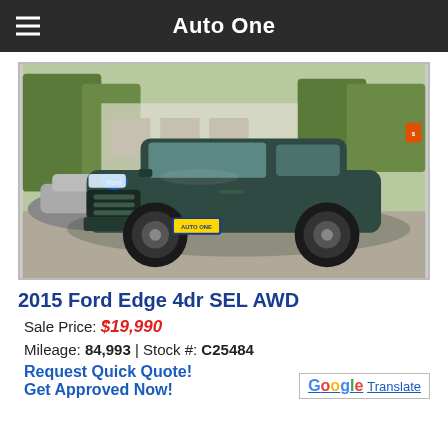Auto One
[Figure (photo): Photo of a dark green/teal 2015 Ford Edge 4dr SEL AWD SUV parked on a dealership lot, facing front-left, with other vehicles and trees visible in the background.]
2015 Ford Edge 4dr SEL AWD
Sale Price: $19,990
Mileage: 84,993 | Stock #: C25484
Request Quick Quote!
Get Approved Now!